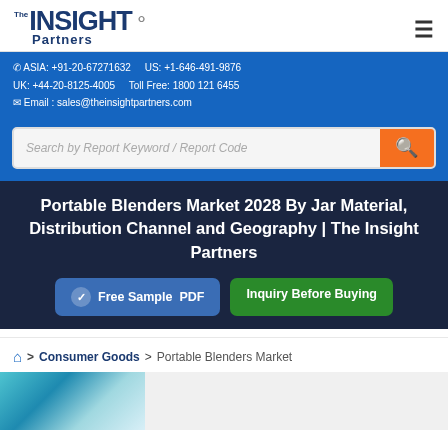[Figure (logo): The Insight Partners logo with magnifying glass graphic]
ASIA: +91-20-67271632   US: +1-646-491-9876
UK: +44-20-8125-4005    Toll Free: 1800 121 6455
Email : sales@theinsightpartners.com
Search by Report Keyword / Report Code
Portable Blenders Market 2028 By Jar Material, Distribution Channel and Geography | The Insight Partners
Free Sample PDF   Inquiry Before Buying
> Consumer Goods > Portable Blenders Market
[Figure (photo): Partial product image at bottom of page]